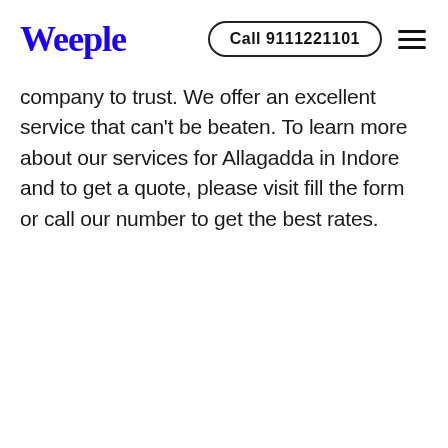Weeple | Call 9111221101
company to trust. We offer an excellent service that can't be beaten. To learn more about our services for Allagadda in Indore and to get a quote, please visit fill the form or call our number to get the best rates.